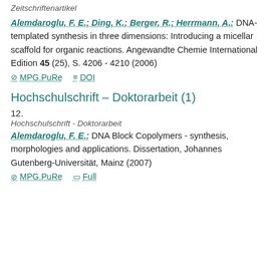Zeitschriftenartikel
Alemdaroglu, F. E.; Ding, K.; Berger, R.; Herrmann, A.: DNA-templated synthesis in three dimensions: Introducing a micellar scaffold for organic reactions. Angewandte Chemie International Edition 45 (25), S. 4206 - 4210 (2006)
MPG.PuRe   DOI
Hochschulschrift – Doktorarbeit (1)
12.
Hochschulschrift - Doktorarbeit
Alemdaroglu, F. E.: DNA Block Copolymers - synthesis, morphologies and applications. Dissertation, Johannes Gutenberg-Universität, Mainz (2007)
MPG.PuRe   Full